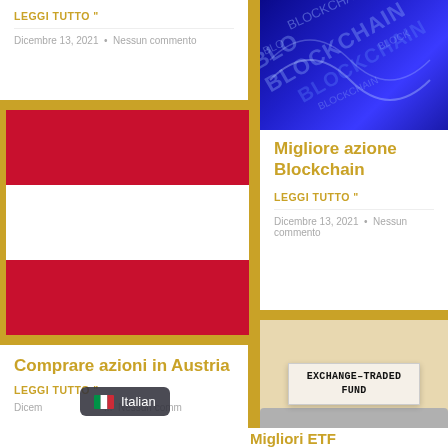LEGGI TUTTO "
Dicembre 13, 2021  •  Nessun commento
[Figure (photo): Austrian national flag — three horizontal stripes: red, white, red]
Comprare azioni in Austria
LEGGI TUTTO "
Dicembre 13, 2021  •  Nessun commento
[Figure (photo): Blue digital blockchain background with BLOCKCHAIN text pattern]
Migliore azione Blockchain
LEGGI TUTTO "
Dicembre 13, 2021  •  Nessun commento
[Figure (photo): Typewriter with paper showing text EXCHANGE-TRADED FUND]
Migliori ETF
Italian